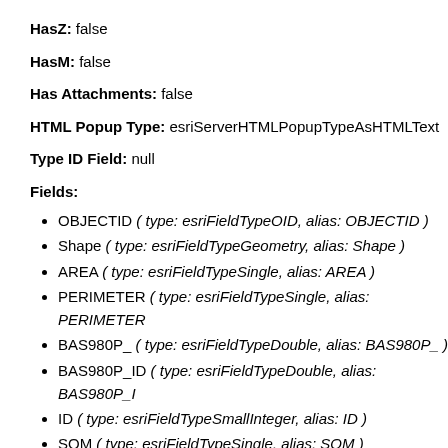HasZ: false
HasM: false
Has Attachments: false
HTML Popup Type: esriServerHTMLPopupTypeAsHTMLText
Type ID Field: null
Fields:
OBJECTID ( type: esriFieldTypeOID, alias: OBJECTID )
Shape ( type: esriFieldTypeGeometry, alias: Shape )
AREA ( type: esriFieldTypeSingle, alias: AREA )
PERIMETER ( type: esriFieldTypeSingle, alias: PERIMETER )
BAS980P_ ( type: esriFieldTypeDouble, alias: BAS980P_ )
BAS980P_ID ( type: esriFieldTypeDouble, alias: BAS980P_ID )
ID ( type: esriFieldTypeSmallInteger, alias: ID )
SQM ( type: esriFieldTypeSingle, alias: SQM )
PT980_ ( type: esriFieldTypeDouble, alias: PT980_ )
PT980_ID ( type: esriFieldTypeDouble, alias: PT980_ID )
COM_ID ( type: esriFieldTypeDouble, alias: COM_ID )
RCH_CODE ( type: esriFieldTypeString, alias: RCH_CODE,